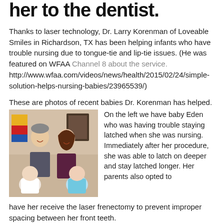her to the dentist.
Thanks to laser technology, Dr. Larry Korenman of Loveable Smiles in Richardson, TX has been helping infants who have trouble nursing due to tongue-tie and lip-tie issues. (He was featured on WFAA Channel 8 about the service. http://www.wfaa.com/videos/news/health/2015/02/24/simple-solution-helps-nursing-babies/23965539/)
These are photos of recent babies Dr. Korenman has helped.
[Figure (photo): Photo of a man and woman smiling, each holding a baby]
On the left we have baby Eden who was having trouble staying latched when she was nursing. Immediately after her procedure, she was able to latch on deeper and stay latched longer. Her parents also opted to have her receive the laser frenectomy to prevent improper spacing between her front teeth.